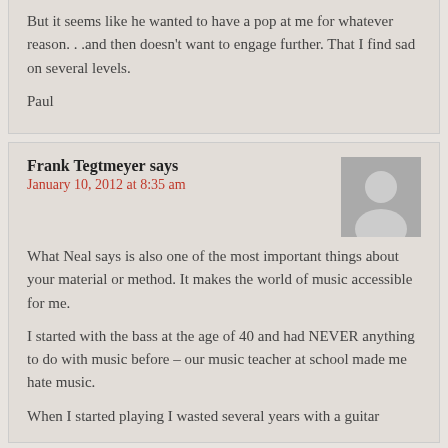But it seems like he wanted to have a pop at me for whatever reason. . .and then doesn't want to engage further. That I find sad on several levels.

Paul
Frank Tegtmeyer says
January 10, 2012 at 8:35 am
What Neal says is also one of the most important things about your material or method. It makes the world of music accessible for me.
I started with the bass at the age of 40 and had NEVER anything to do with music before – our music teacher at school made me hate music.
When I started playing I wasted several years with a guitar